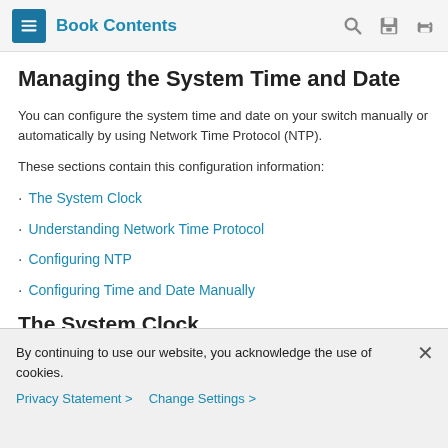Book Contents
Managing the System Time and Date
You can configure the system time and date on your switch manually or automatically by using Network Time Protocol (NTP).
These sections contain this configuration information:
The System Clock
Understanding Network Time Protocol
Configuring NTP
Configuring Time and Date Manually
The System Clock
By continuing to use our website, you acknowledge the use of cookies.
Privacy Statement > Change Settings >